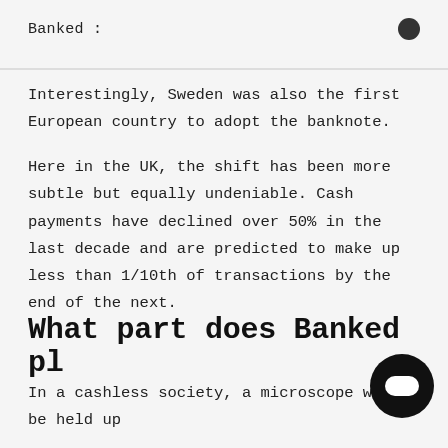Banked :
Interestingly, Sweden was also the first European country to adopt the banknote.
Here in the UK, the shift has been more subtle but equally undeniable. Cash payments have declined over 50% in the last decade and are predicted to make up less than 1/10th of transactions by the end of the next.
What part does Banked pl
In a cashless society, a microscope will be held up